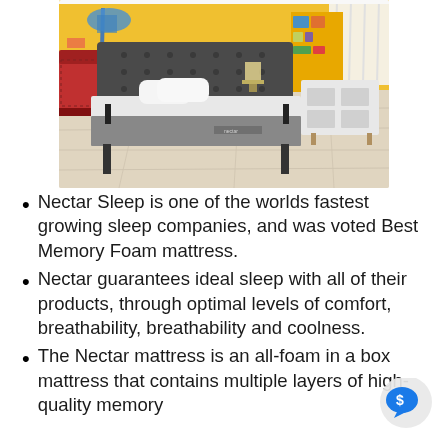[Figure (photo): Bedroom scene with a Nectar mattress on a dark grey upholstered bed frame, yellow wall, pillows on mattress, lamp, bookshelf, and dresser in background on light wood floor]
Nectar Sleep is one of the worlds fastest growing sleep companies, and was voted Best Memory Foam mattress.
Nectar guarantees ideal sleep with all of their products, through optimal levels of comfort, breathability, breathability and coolness.
The Nectar mattress is an all-foam in a box mattress that contains multiple layers of high-quality memory